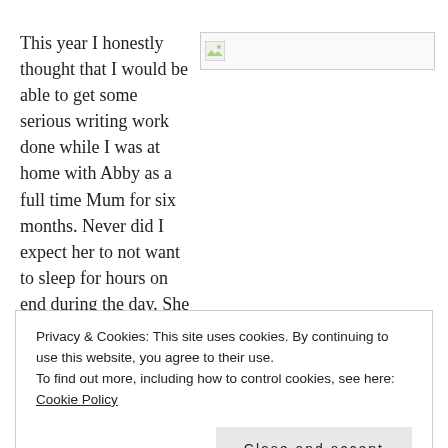This year I honestly thought that I would be able to get some serious writing work done while I was at home with Abby as a full time Mum for six months. Never did I expect her to not want to sleep for hours on end during the day. She
[Figure (other): Broken/loading image placeholder shown as a small icon in a rectangular box]
Privacy & Cookies: This site uses cookies. By continuing to use this website, you agree to their use.
To find out more, including how to control cookies, see here: Cookie Policy
Close and accept
moment of regret.